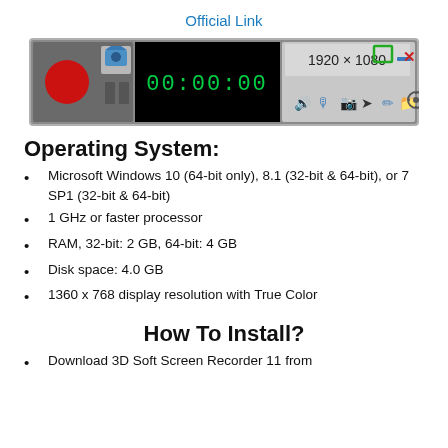Official Link
[Figure (screenshot): Screenshot of 3D Soft Screen Recorder toolbar showing record button, camera icon, timer display (00:00:00), resolution (1920 × 1080), and control icons including audio, microphone, webcam, cursor, pencil, folder, and settings.]
Operating System:
Microsoft Windows 10 (64-bit only), 8.1 (32-bit & 64-bit), or 7 SP1 (32-bit & 64-bit)
1 GHz or faster processor
RAM, 32-bit: 2 GB, 64-bit: 4 GB
Disk space: 4.0 GB
1360 x 768 display resolution with True Color
How To Install?
Download 3D Soft Screen Recorder 11 from